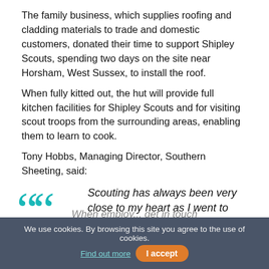The family business, which supplies roofing and cladding materials to trade and domestic customers, donated their time to support Shipley Scouts, spending two days on the site near Horsham, West Sussex, to install the roof.
When fully kitted out, the hut will provide full kitchen facilities for Shipley Scouts and for visiting scout troops from the surrounding areas, enabling them to learn to cook.
Tony Hobbs, Managing Director, Southern Sheeting, said:
Scouting has always been very close to my heart as I went to Cubs and Scouts as a child and I still volunteer for them as a leader.
We use cookies. By browsing this site you agree to the use of cookies. Find out more | I accept
When employ... get in touch with us regarding a...